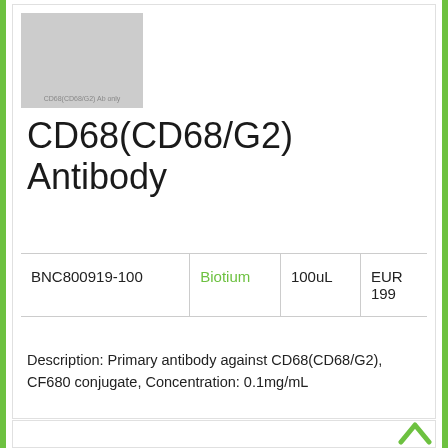[Figure (photo): Grayscale product/antibody image placeholder with label CD68(CD68/G2) Ab only]
CD68(CD68/G2) Antibody
| Catalog | Brand | Volume | Price |
| --- | --- | --- | --- |
| BNC800919-100 | Biotium | 100uL | EUR 199 |
Description: Primary antibody against CD68(CD68/G2), CF680 conjugate, Concentration: 0.1mg/mL
[Figure (photo): Grayscale product/antibody image placeholder with label CD68(CD68/G2) Ab only]